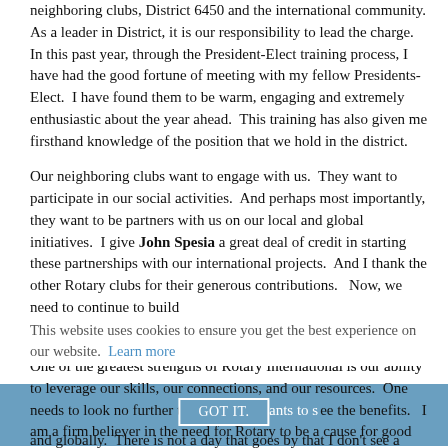neighboring clubs, District 6450 and the international community. As a leader in District, it is our responsibility to lead the charge. In this past year, through the President-Elect training process, I have had the good fortune of meeting with my fellow Presidents-Elect. I have found them to be warm, engaging and extremely enthusiastic about the year ahead. This training has also given me firsthand knowledge of the position that we hold in the district.
Our neighboring clubs want to engage with us. They want to participate in our social activities. And perhaps most importantly, they want to be partners with us on our local and global initiatives. I give John Spesia a great deal of credit in starting these partnerships with our international projects. And I thank the other Rotary clubs for their generous contributions. Now, we need to continue to build on these relationships.
This website uses cookies to ensure you get the best experience on our website. Learn more
One of the greatest strengths of Rotary International is our ability to leverage our skills, our connections, and our resources. One needs to look no further than Global Grants to see the benefits. I am a firm believer in the need for Rotary to be a cause for good both locally and globally. There is not a day that goes by that I don't see a project